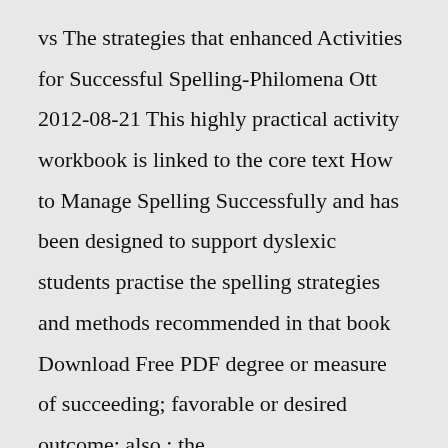vs The strategies that enhanced Activities for Successful Spelling-Philomena Ott 2012-08-21 This highly practical activity workbook is linked to the core text How to Manage Spelling Successfully and has been designed to support dyslexic students practise the spelling strategies and methods recommended in that book Download Free PDF degree or measure of succeeding; favorable or desired outcome; also : the